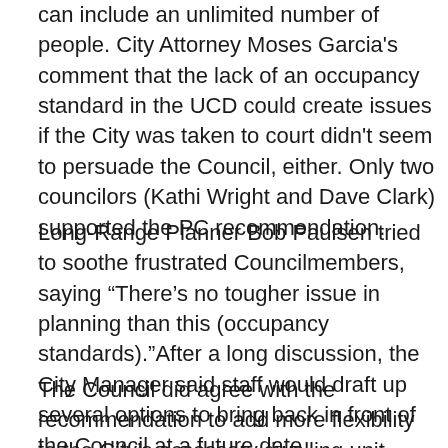can include an unlimited number of people. City Attorney Moses Garcia's comment that the lack of an occupancy standard in the UCD could create issues if the City was taken to court didn't seem to persuade the Council, either. Only two councilors (Kathi Wright and Dave Clark) supported the PC recommendation.
Long-Range Planner Bob Paulsen tried to soothe frustrated Councilmembers, saying “There’s no tougher issue in planning than this (occupancy standards).”After a long discussion, the City Manager said staff would draft up several options to bring back in front of the Council at a future date.
The Council did agree with the recommendation to add more flexibility to the City’s accessory dwelling unit regulations. The proposal will keep the recommended